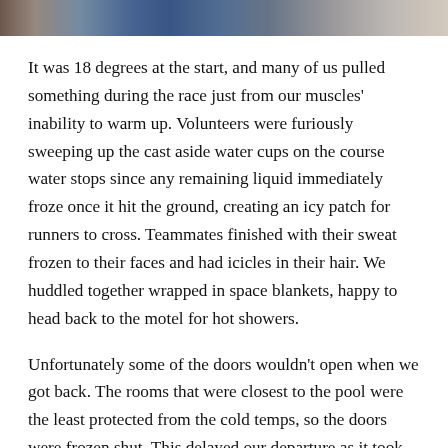[Figure (photo): Partial photo strip showing people at what appears to be a racing event, cropped at top of page]
It was 18 degrees at the start, and many of us pulled something during the race just from our muscles' inability to warm up. Volunteers were furiously sweeping up the cast aside water cups on the course water stops since any remaining liquid immediately froze once it hit the ground, creating an icy patch for runners to cross. Teammates finished with their sweat frozen to their faces and had icicles in their hair. We huddled together wrapped in space blankets, happy to head back to the motel for hot showers.
Unfortunately some of the doors wouldn't open when we got back. The rooms that were closest to the pool were the least protected from the cold temps, so the doors were frozen shut. This delayed our departure as it took maintenance almost an hour to get all of those doors open.